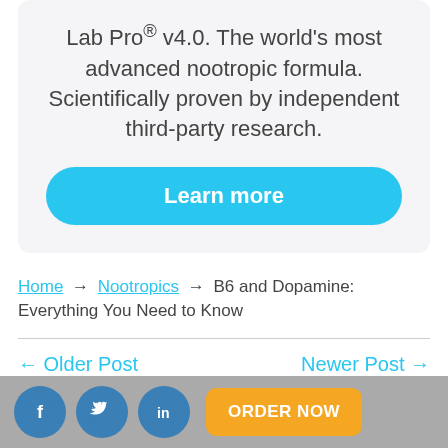Lab Pro® v4.0. The world's most advanced nootropic formula. Scientifically proven by independent third-party research.
Learn more
Home → Nootropics → B6 and Dopamine: Everything You Need to Know
← Older Post
Newer Post →
ORDER NOW